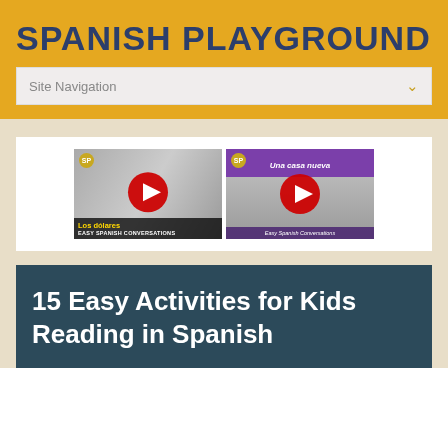SPANISH PLAYGROUND
Site Navigation
[Figure (screenshot): Two YouTube video thumbnails for Easy Spanish Conversations series. Left thumbnail shows 'Los dólares - Easy Spanish Conversations' with a red play button. Right thumbnail shows 'Una casa nueva - Easy Spanish Conversations' with a purple header and red play button.]
15 Easy Activities for Kids Reading in Spanish